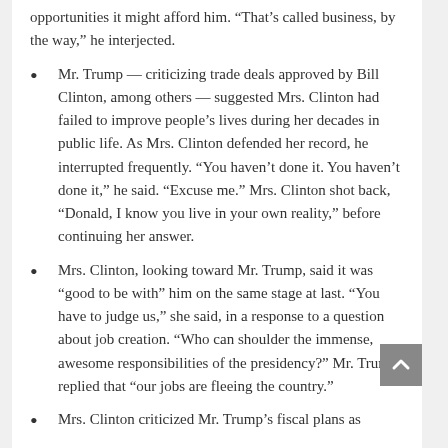opportunities it might afford him. “That’s called business, by the way,” he interjected.
Mr. Trump — criticizing trade deals approved by Bill Clinton, among others — suggested Mrs. Clinton had failed to improve people’s lives during her decades in public life. As Mrs. Clinton defended her record, he interrupted frequently. “You haven’t done it. You haven’t done it,” he said. “Excuse me.” Mrs. Clinton shot back, “Donald, I know you live in your own reality,” before continuing her answer.
Mrs. Clinton, looking toward Mr. Trump, said it was “good to be with” him on the same stage at last. “You have to judge us,” she said, in a response to a question about job creation. “Who can shoulder the immense, awesome responsibilities of the presidency?” Mr. Trump replied that “our jobs are fleeing the country.”
Mrs. Clinton criticized Mr. Trump’s fiscal plans as